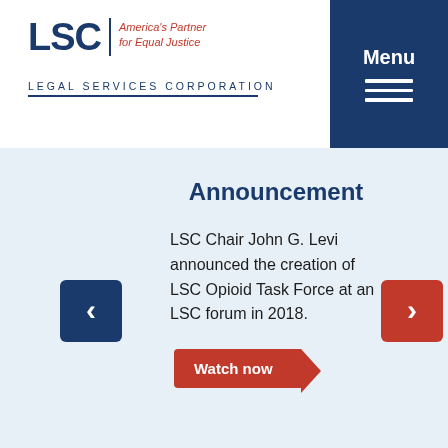[Figure (logo): LSC Legal Services Corporation logo with tagline 'America's Partner for Equal Justice']
Menu
Announcement
LSC Chair John G. Levi announced the creation of LSC Opioid Task Force at an LSC forum in 2018.
Watch now